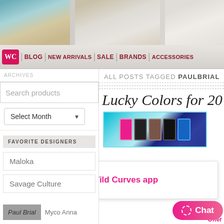[Figure (photo): Fashion hero banner with models in colorful and light outfits]
WC | BLOG | NEW ARRIVALS | SALE | BRANDS | ACCESSORIES
Search products
Select Month
FAVORITE DESIGNERS
Maloka
Savage Culture
ALL POSTS TAGGED PAULBRIAL
Lucky Colors for 20...
[Figure (photo): Colorful fashion cards/items article image]
Open in Wild Curves app
Paul Brial
Myco Anna
Chat
Offer